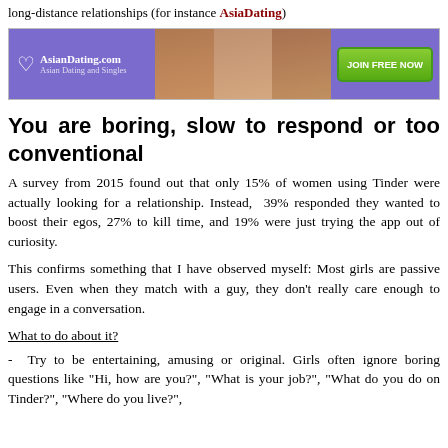long-distance relationships (for instance AsiaDating)
[Figure (other): AsianDating.com advertisement banner with logo, photos of women, and 'JOIN FREE NOW' green button]
You are boring, slow to respond or too conventional
A survey from 2015 found out that only 15% of women using Tinder were actually looking for a relationship. Instead,  39% responded they wanted to boost their egos, 27% to kill time, and 19% were just trying the app out of curiosity.
This confirms something that I have observed myself: Most girls are passive users. Even when they match with a guy, they don't really care enough to engage in a conversation.
What to do about it?
- Try to be entertaining, amusing or original. Girls often ignore boring questions like "Hi, how are you?", "What is your job?", "What do you do on Tinder?", "Where do you live?",